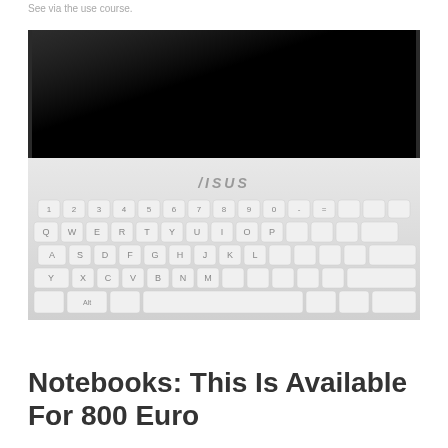See via the use course.
[Figure (photo): Close-up photo of a white ASUS laptop keyboard with a dark/black screen in the background.]
Notebooks: This Is Available For 800 Euro